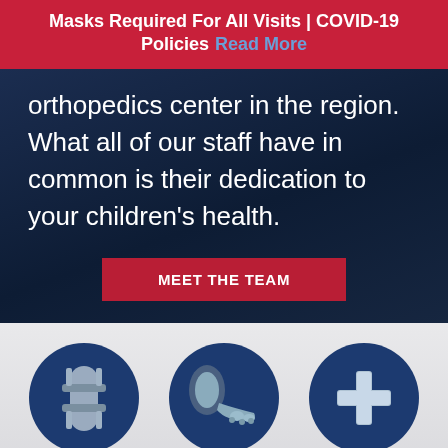Masks Required For All Visits | COVID-19 Policies  Read More
orthopedics center in the region. What all of our staff have in common is their dedication to your children's health.
MEET THE TEAM
[Figure (illustration): Three circular dark navy blue icons in a row: left icon shows a knee brace/orthopedic brace in gray, center icon shows an ankle/foot bone X-ray view in gray, right icon shows a medical cross/plus symbol in gray. Below is a partial row of three more circular icons partially cut off at the bottom of the page.]